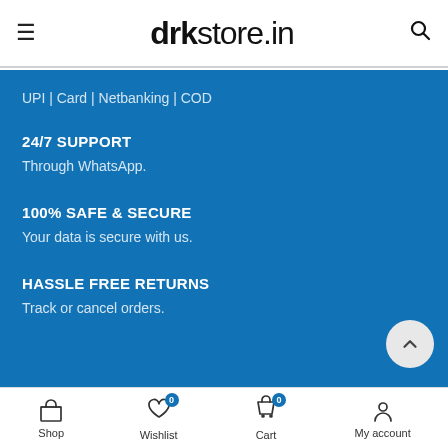drkstore.in
UPI | Card | Netbanking | COD
24/7 SUPPORT
Through WhatsApp.
100% SAFE & SECURE
Your data is secure with us.
HASSLE FREE RETURNS
Track or cancel orders.
Shop | Wishlist 0 | Cart 0 | My account